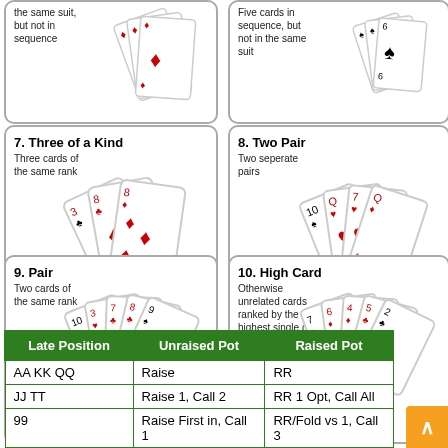[Figure (illustration): 7. Three of a Kind - Three cards of the same rank, showing fan of cards with diamonds]
[Figure (illustration): 8. Two Pair - Two separate pairs, showing fan of cards Q, 7, Q, 1 red/black]
[Figure (illustration): 9. Pair - Two cards of the same rank, showing fan of black spade cards]
[Figure (illustration): 10. High Card - Otherwise unrelated cards ranked by the highest single card, showing fan of black club cards]
Texas Hold Em Fun Card Games Family Card Games Poker Hands Rankings
| Late Position | Unraised Pot | Raised Pot |
| --- | --- | --- |
| AA KK QQ | Raise | RR |
| JJ TT | Raise 1, Call 2 | RR 1 Opt, Call All |
| 99 | Raise First in, Call 1 | RR/Fold vs 1, Call 3 |
| AA TT | Raise First in, Call 1 | Call 3 |